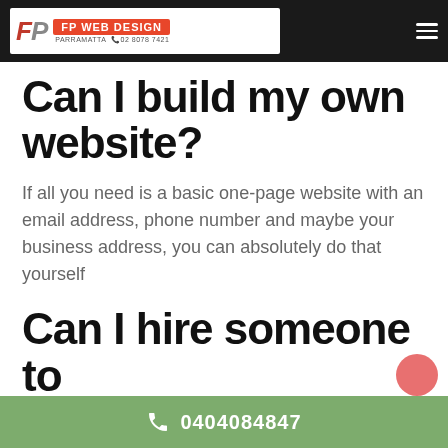FP WEB DESIGN PARRAMATTA 02 8078 7421
Can I build my own website?
If all you need is a basic one-page website with an email address, phone number and maybe your business address, you can absolutely do that yourself
Can I hire someone to run my website?
0404084847